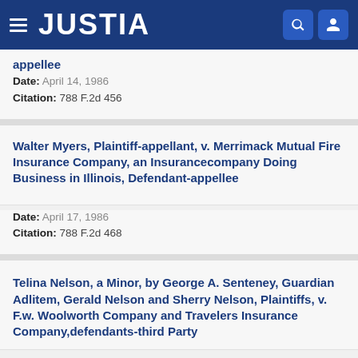JUSTIA
appellee
Date: April 14, 1986
Citation: 788 F.2d 456
Walter Myers, Plaintiff-appellant, v. Merrimack Mutual Fire Insurance Company, an Insurancecompany Doing Business in Illinois, Defendant-appellee
Date: April 17, 1986
Citation: 788 F.2d 468
Telina Nelson, a Minor, by George A. Senteney, Guardian Adlitem, Gerald Nelson and Sherry Nelson, Plaintiffs, v. F.w. Woolworth Company and Travelers Insurance Company,defendants-third Party Plaintiffs-appellants, v. Tamara Myers...